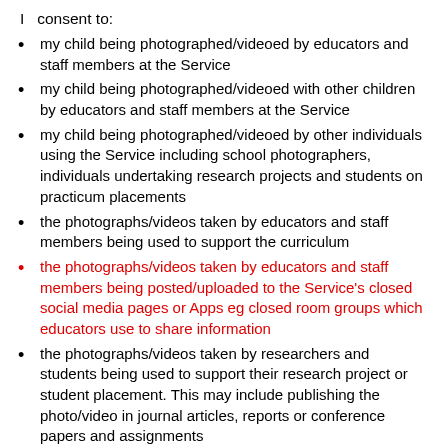I  consent to:
my child being photographed/videoed by educators and staff members at the Service
my child being photographed/videoed with other children by educators and staff members at the Service
my child being photographed/videoed by other individuals using the Service including school photographers, individuals undertaking research projects and students on practicum placements
the photographs/videos taken by educators and staff members being used to support the curriculum
the photographs/videos taken by educators and staff members being posted/uploaded to the Service's closed social media pages or Apps eg closed room groups which educators use to share information
the photographs/videos taken by researchers and students being used to support their research project or student placement. This may include publishing the photo/video in journal articles, reports or conference papers and assignments